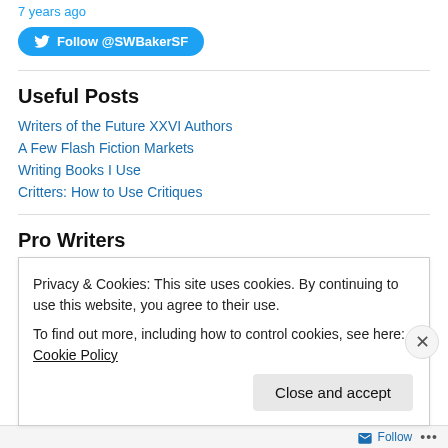7 years ago
Follow @SWBakerSF
Useful Posts
Writers of the Future XXVI Authors
A Few Flash Fiction Markets
Writing Books I Use
Critters: How to Use Critiques
Pro Writers
Privacy & Cookies: This site uses cookies. By continuing to use this website, you agree to their use.
To find out more, including how to control cookies, see here: Cookie Policy
Close and accept